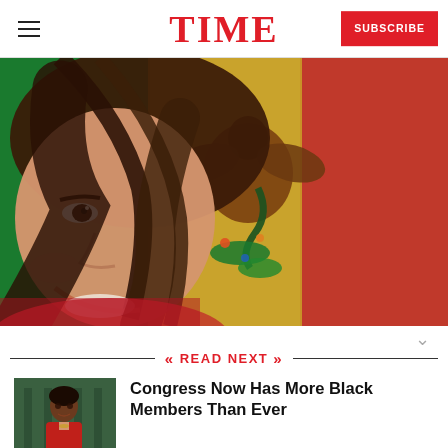TIME | SUBSCRIBE
[Figure (photo): A smiling woman with dark wavy hair overlaid on the Mexican flag (green, white with eagle emblem, red stripes)]
READ NEXT
[Figure (photo): Thumbnail photo of a Black woman in a red jacket in front of a building]
Congress Now Has More Black Members Than Ever